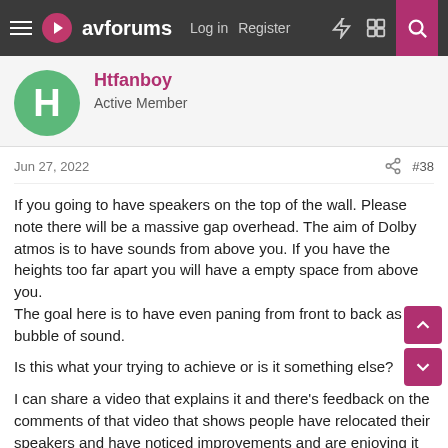avforums | Log in | Register
Htfanboy
Active Member
Jun 27, 2022  #38
If you going to have speakers on the top of the wall. Please note there will be a massive gap overhead. The aim of Dolby atmos is to have sounds from above you. If you have the heights too far apart you will have a empty space from above you.
The goal here is to have even paning from front to back as in a bubble of sound.
Is this what your trying to achieve or is it something else?
I can share a video that explains it and there's feedback on the comments of that video that shows people have relocated their speakers and have noticed improvements and are enjoying it much better than what they had.